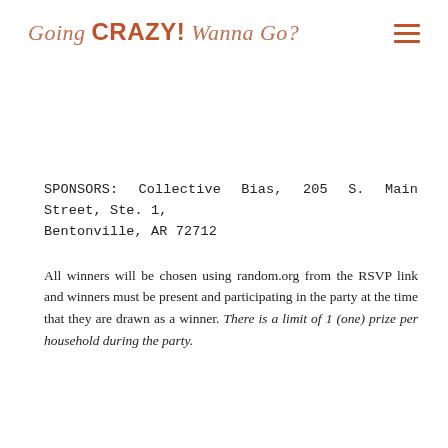Going CRAZY! Wanna Go?
SPONSORS: Collective Bias, 205 S. Main Street, Ste. 1, Bentonville, AR 72712
All winners will be chosen using random.org from the RSVP link and winners must be present and participating in the party at the time that they are drawn as a winner. There is a limit of 1 (one) prize per household during the party.